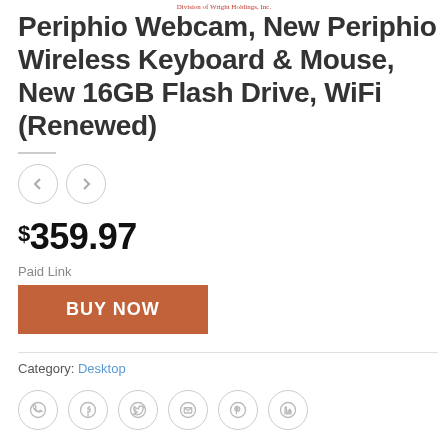Division of Wright Holdings, Inc.
Periphio Webcam, New Periphio Wireless Keyboard & Mouse, New 16GB Flash Drive, WiFi (Renewed)
$359.97
Paid Link
BUY NOW
Category: Desktop